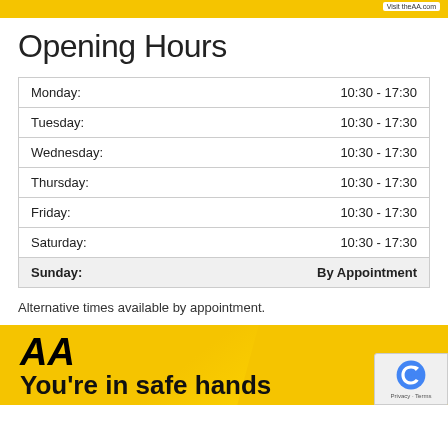Visit theAA.com
Opening Hours
| Day | Hours |
| --- | --- |
| Monday: | 10:30 - 17:30 |
| Tuesday: | 10:30 - 17:30 |
| Wednesday: | 10:30 - 17:30 |
| Thursday: | 10:30 - 17:30 |
| Friday: | 10:30 - 17:30 |
| Saturday: | 10:30 - 17:30 |
| Sunday: | By Appointment |
Alternative times available by appointment.
[Figure (logo): AA logo on yellow banner with text 'You're in safe hands']